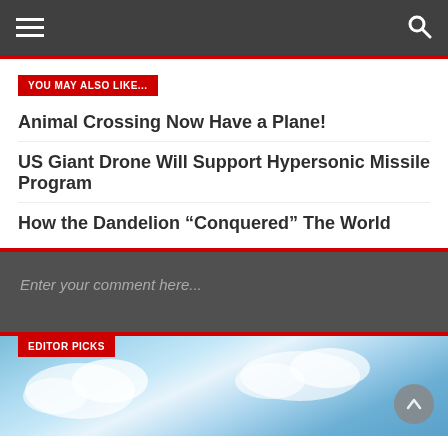Navigation bar with hamburger menu and search icon
YOU MAY ALSO LIKE...
Animal Crossing Now Have a Plane!
US Giant Drone Will Support Hypersonic Missile Program
How the Dandelion “Conquered” The World
Enter your comment here...
EDITOR PICKS
[Figure (photo): Sky with clouds background image for Editor Picks section]